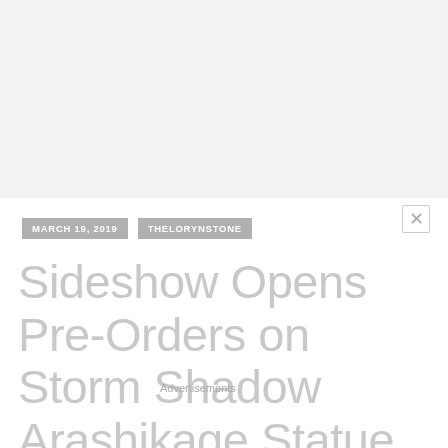MARCH 19, 2019   THELORYNSTONE
Sideshow Opens Pre-Orders on Storm Shadow Arashikage Statue by PCS Collectibles
Advertisements